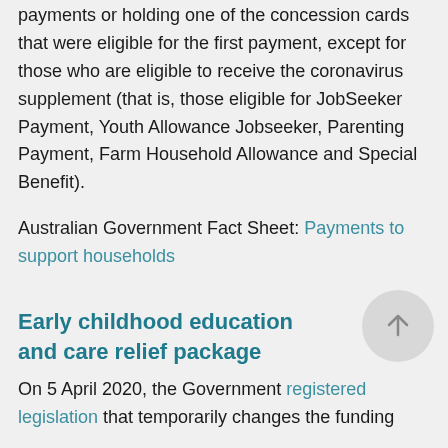payments or holding one of the concession cards that were eligible for the first payment, except for those who are eligible to receive the coronavirus supplement (that is, those eligible for JobSeeker Payment, Youth Allowance Jobseeker, Parenting Payment, Farm Household Allowance and Special Benefit).
Australian Government Fact Sheet: Payments to support households
Early childhood education and care relief package
On 5 April 2020, the Government registered legislation that temporarily changes the funding